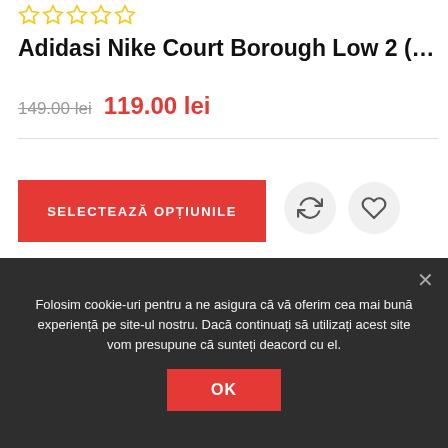[Figure (other): Five star rating icons (empty/outline stars in gold/yellow)]
Adidasi Nike Court Borough Low 2 (PS...
149.00 lei  119.00 lei
SELECTEAZĂ OPȚIUNILE
[Figure (other): Gray content area placeholder]
Folosim cookie-uri pentru a ne asigura că vă oferim cea mai bună experiență pe site-ul nostru. Dacă continuați să utilizați acest site vom presupune că sunteți deacord cu el.